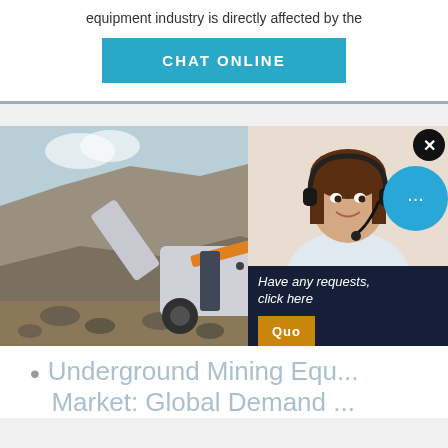equipment industry is directly affected by the
CHAT ONLINE
[Figure (photo): Mining equipment / crusher machine at a quarry site with rocky terrain and a blue sky background]
[Figure (photo): Customer service representative (woman with headset) in popup overlay]
Have any requests, click here
Quot...
Enquiry
limingjlmofen@sina.com
Underground Mining Equ... Market: Global Demand ...